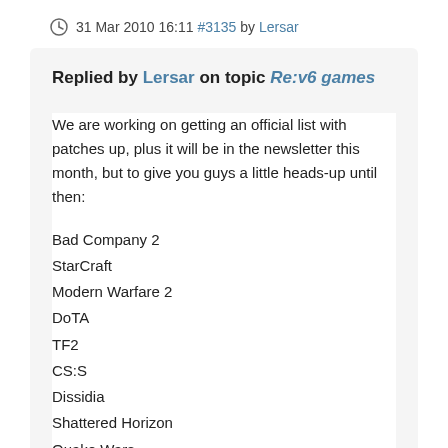31 Mar 2010 16:11 #3135 by Lersar
Replied by Lersar on topic Re:v6 games
We are working on getting an official list with patches up, plus it will be in the newsletter this month, but to give you guys a little heads-up until then:
Bad Company 2
StarCraft
Modern Warfare 2
DoTA
TF2
CS:S
Dissidia
Shattered Horizon
Quake Wars